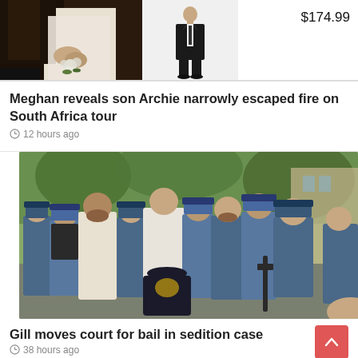[Figure (photo): Wedding couple hands with bouquet, partially cropped on left]
[Figure (photo): Man in dark suit standing, product photo on white background]
$174.99
Meghan reveals son Archie narrowly escaped fire on South Africa tour
12 hours ago
[Figure (photo): Group of men including civilians in white shalwar kameez surrounded by police officers in blue uniforms]
Gill moves court for bail in sedition case
38 hours ago